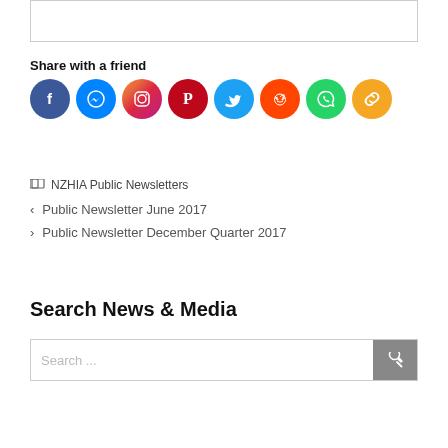[Figure (other): Social share icons row: Facebook, Messenger, Instagram, Pinterest, Twitter, Reddit, WhatsApp, Copy Link]
Share with a friend
NZHIA Public Newsletters
< Public Newsletter June 2017
> Public Newsletter December Quarter 2017
Search News & Media
Search ...